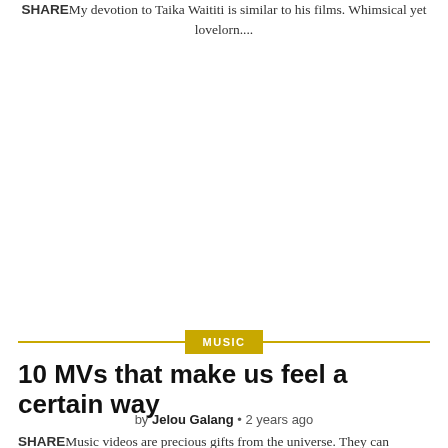SHAREMy devotion to Taika Waititi is similar to his films. Whimsical yet lovelorn....
MUSIC
10 MVs that make us feel a certain way
by Jelou Galang • 2 years ago
SHAREMusic videos are precious gifts from the universe. They can